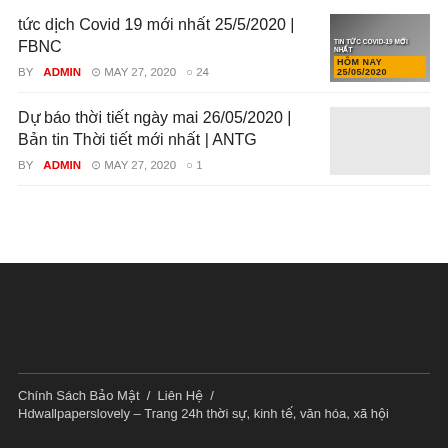tức dịch Covid 19 mới nhất 25/5/2020 | FBNC
BY ADMIN  MAY 27, 2020  24
[Figure (photo): Thumbnail image for Covid 19 article with text overlay showing 'HÔM NAY 25/05/2020']
Dự báo thời tiết ngày mai 26/05/2020 | Bản tin Thời tiết mới nhất | ANTG
BY ADMIN  MAY 27, 2020  1
[Figure (photo): Blank/grey thumbnail image for weather forecast article]
Chính Sách Bảo Mật  /  Liên Hệ  /
Hdwallpaperslovely – Trang 24h thời sự, kinh tế, văn hóa, xã hội